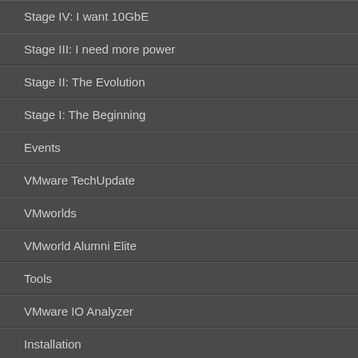Stage IV: I want 10GbE
Stage III: I need more power
Stage II: The Evolution
Stage I: The Beginning
Events
VMware TechUpdate
VMworlds
VMworld Alumni Elite
Tools
VMware IO Analyzer
Installation